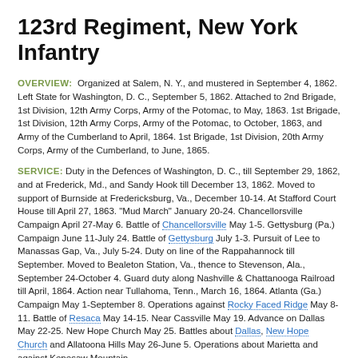123rd Regiment, New York Infantry
OVERVIEW: Organized at Salem, N. Y., and mustered in September 4, 1862. Left State for Washington, D. C., September 5, 1862. Attached to 2nd Brigade, 1st Division, 12th Army Corps, Army of the Potomac, to May, 1863. 1st Brigade, 1st Division, 12th Army Corps, Army of the Potomac, to October, 1863, and Army of the Cumberland to April, 1864. 1st Brigade, 1st Division, 20th Army Corps, Army of the Cumberland, to June, 1865.
SERVICE: Duty in the Defences of Washington, D. C., till September 29, 1862, and at Frederick, Md., and Sandy Hook till December 13, 1862. Moved to support of Burnside at Fredericksburg, Va., December 10-14. At Stafford Court House till April 27, 1863. "Mud March" January 20-24. Chancellorsville Campaign April 27-May 6. Battle of Chancellorsville May 1-5. Gettysburg (Pa.) Campaign June 11-July 24. Battle of Gettysburg July 1-3. Pursuit of Lee to Manassas Gap, Va., July 5-24. Duty on line of the Rappahannock till September. Moved to Bealeton Station, Va., thence to Stevenson, Ala., September 24-October 4. Guard duty along Nashville & Chattanooga Railroad till April, 1864. Action near Tullahoma, Tenn., March 16, 1864. Atlanta (Ga.) Campaign May 1-September 8. Operations against Rocky Faced Ridge May 8-11. Battle of Resaca May 14-15. Near Cassville May 19. Advance on Dallas May 22-25. New Hope Church May 25. Battles about Dallas, New Hope Church and Allatoona Hills May 26-June 5. Operations about Marietta and against Kenesaw Mountain